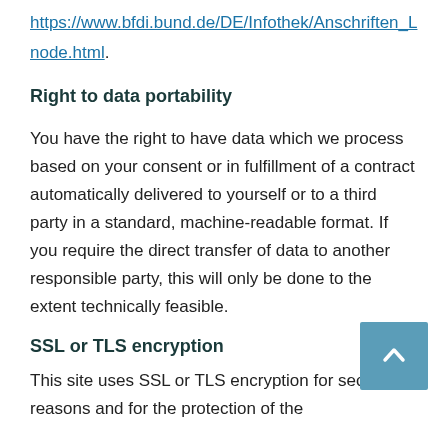https://www.bfdi.bund.de/DE/Infothek/Anschriften_L
node.html.
Right to data portability
You have the right to have data which we process based on your consent or in fulfillment of a contract automatically delivered to yourself or to a third party in a standard, machine-readable format. If you require the direct transfer of data to another responsible party, this will only be done to the extent technically feasible.
SSL or TLS encryption
This site uses SSL or TLS encryption for security reasons and for the protection of the